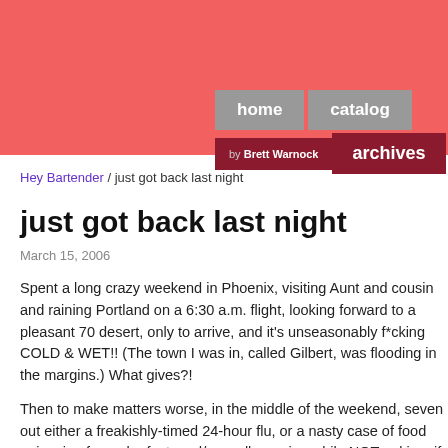home | catalog | archives | by Brett Warnock
Hey Bartender / just got back last night
just got back last night
March 15, 2006
Spent a long crazy weekend in Phoenix, visiting Aunt and cousin and raining Portland on a 6:30 a.m. flight, looking forward to a pleasant 70 desert, only to arrive, and it's unseasonably f*cking COLD & WET!! (The town I was in, called Gilbert, was flooding in the margins.) What gives?!
Then to make matters worse, in the middle of the weekend, seven out either a freakishly-timed 24-hour flu, or a nasty case of food poisoning fun puke-fest, and/or, well, purging while NOT puking, if you get my dr
And to top off the trip, a handful of outreach calls to the local comics s surreptitiously first ask if they have BLANKETS in stock), turned out he bust. Makes me realize the continuous uphill battle small publishers fa direct-market retailers. (To date, by far the best store that i've been t